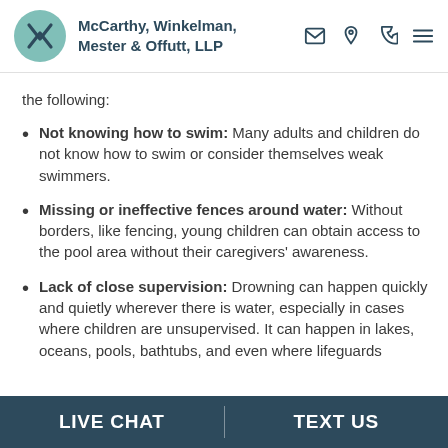McCarthy, Winkelman, Mester & Offutt, LLP
the following:
Not knowing how to swim: Many adults and children do not know how to swim or consider themselves weak swimmers.
Missing or ineffective fences around water: Without borders, like fencing, young children can obtain access to the pool area without their caregivers' awareness.
Lack of close supervision: Drowning can happen quickly and quietly wherever there is water, especially in cases where children are unsupervised. It can happen in lakes, oceans, pools, bathtubs, and even where lifeguards
LIVE CHAT   TEXT US